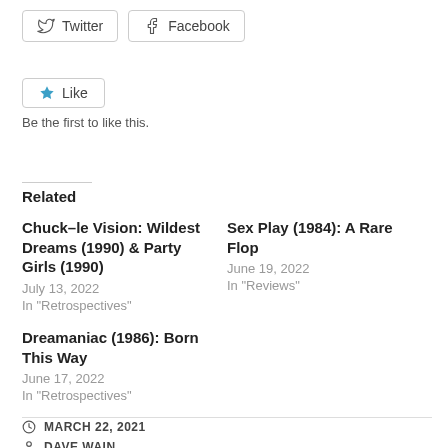[Figure (screenshot): Twitter and Facebook share buttons]
[Figure (screenshot): Like button with star icon]
Be the first to like this.
Related
Chuck-le Vision: Wildest Dreams (1990) & Party Girls (1990)
July 13, 2022
In "Retrospectives"
Sex Play (1984): A Rare Flop
June 19, 2022
In "Reviews"
Dreamaniac (1986): Born This Way
June 17, 2022
In "Retrospectives"
MARCH 22, 2021
DAVE WAIN